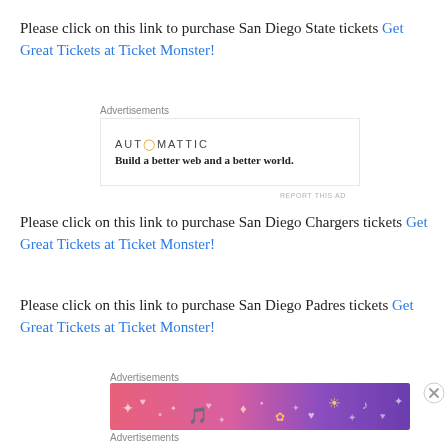Please click on this link to purchase San Diego State tickets Get Great Tickets at Ticket Monster!
Advertisements
[Figure (logo): Automattic logo with tagline: Build a better web and a better world.]
REPORT THIS AD
Please click on this link to purchase San Diego Chargers tickets Get Great Tickets at Ticket Monster!
Please click on this link to purchase San Diego Padres tickets Get Great Tickets at Ticket Monster!
Advertisements
[Figure (illustration): Colorful advertisement banner with pink and purple gradient background featuring cartoon icons and doodles.]
Advertisements
REPORT THIS AD